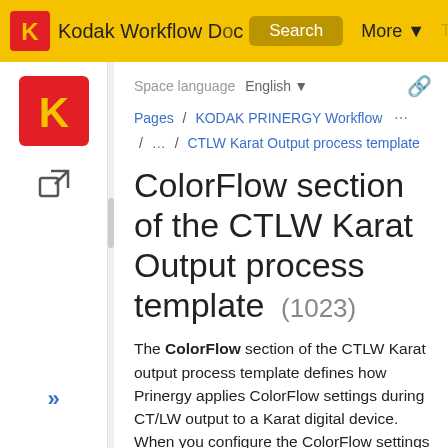Kodak Workflow Documentation   Search   More   Training C  Log
Space language   English
Pages / KODAK PRINERGY Workflow  / ... / CTLW Karat Output process template
ColorFlow section of the CTLW Karat Output process template  (1023)
The ColorFlow section of the CTLW Karat output process template defines how Prinergy applies ColorFlow settings during CT/LW output to a Karat digital device.
When you configure the ColorFlow settings in an output process template, you select the device, device condition, and plate line, but not a color setup. The color setup used is the one that was assigned to the pages when they